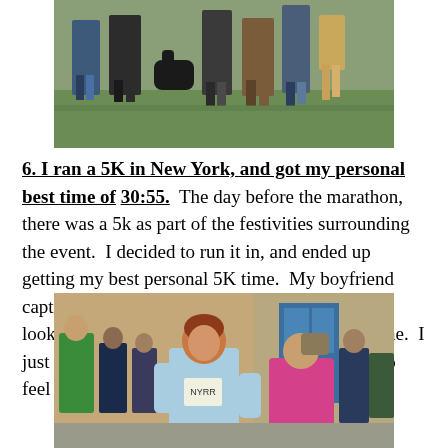[Figure (photo): Group of people standing outdoors on grass, partial view showing legs and lower bodies]
6. I ran a 5K in New York, and got my personal best time of 30:55. The day before the marathon, there was a 5k as part of the festivities surrounding the event. I decided to run it in, and ended up getting my best personal 5K time. My boyfriend captured this picture at the very moment that I looked up and saw the time clock at the finish line. I just love it. The picture says it all. It was nice to feel so proud of myself.
[Figure (photo): A woman with red hair in a light blue shirt running at a 5K race finish line, with other runners and spectators visible in the background]